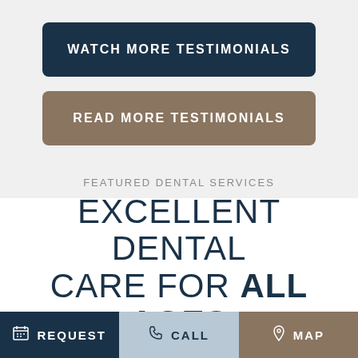[Figure (other): Dark navy rounded button labeled WATCH MORE TESTIMONIALS]
[Figure (other): Brown rounded button labeled READ MORE TESTIMONIALS]
FEATURED DENTAL SERVICES
EXCELLENT DENTAL CARE FOR ALL AGES
REQUEST   CALL   MAP